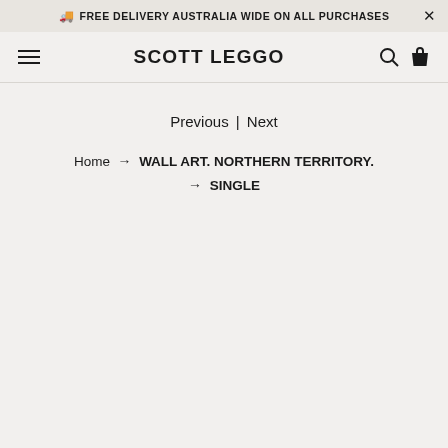🚚 FREE DELIVERY AUSTRALIA WIDE ON ALL PURCHASES ✕
SCOTT LEGGO
Previous | Next
Home → WALL ART. NORTHERN TERRITORY. → SINGLE